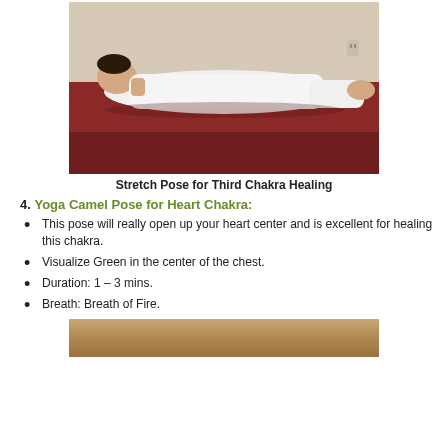[Figure (photo): A person dressed in white lying flat on their stomach on a dark red mat, performing Stretch Pose yoga position, in a room with beige walls.]
Stretch Pose for Third Chakra Healing
4. Yoga Camel Pose for Heart Chakra:
This pose will really open up your heart center and is excellent for healing this chakra.
Visualize Green in the center of the chest.
Duration: 1 – 3 mins.
Breath: Breath of Fire.
[Figure (photo): Partial view of a yoga pose photo, showing a warm brown/tan background, bottom of page.]